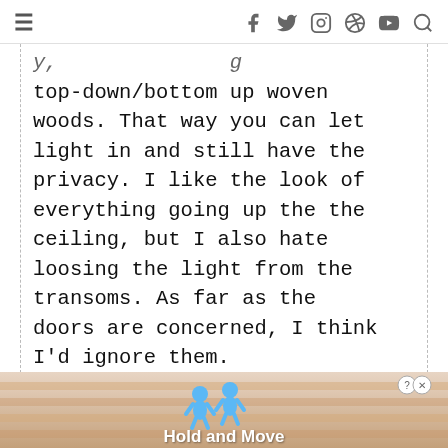≡  f  t  ◎  ⊙  ▶  🔍
top-down/bottom up woven woods. That way you can let light in and still have the privacy. I like the look of everything going up the the ceiling, but I also hate loosing the light from the transoms. As far as the doors are concerned, I think I'd ignore them.
[Figure (screenshot): Advertisement banner showing 'Hold and Move' app/game with cartoon figures and a close button]